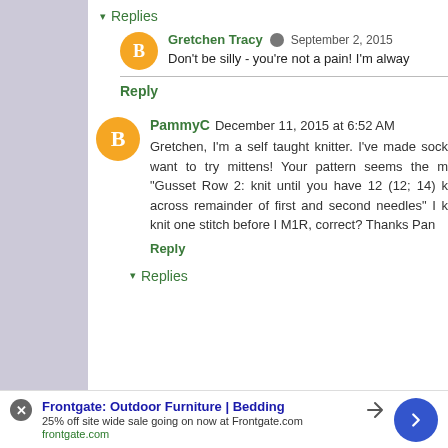▾ Replies
Gretchen Tracy  September 2, 2015
Don't be silly - you're not a pain! I'm alway
Reply
PammyC  December 11, 2015 at 6:52 AM
Gretchen, I'm a self taught knitter. I've made sock want to try mittens! Your pattern seems the m "Gusset Row 2: knit until you have 12 (12; 14) k across remainder of first and second needles" I k knit one stitch before I M1R, correct? Thanks Pan
Reply
▾ Replies
Frontgate: Outdoor Furniture | Bedding
25% off site wide sale going on now at Frontgate.com
frontgate.com